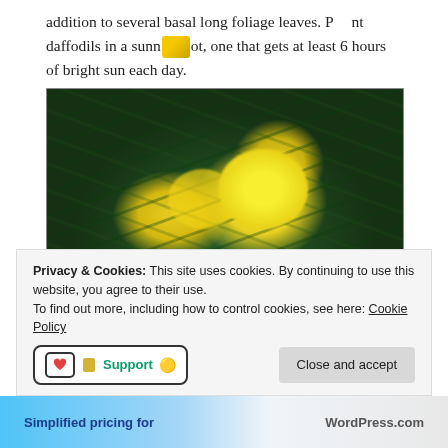addition to several basal long foliage leaves. Plant daffodils in a sunny spot, one that gets at least 6 hours of bright sun each day.
[Figure (photo): Photo of yellow daffodil flowers blooming among tall green foliage leaves in a garden]
Privacy & Cookies: This site uses cookies. By continuing to use this website, you agree to their use.
To find out more, including how to control cookies, see here: Cookie Policy
Support 💛
Close and accept
Simplified pricing for    WordPress.com